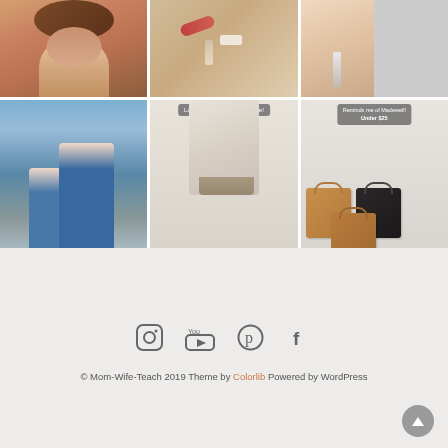[Figure (photo): 6-cell Instagram-style photo grid showing: (row 1) selfie of smiling woman with long auburn hair, flatlay of beauty products on sandy/glittery surface, woman holding foundation bottle next to 'Can't Even Be Without Foundation' sign; (row 2) mother and daughter in matching blue gingham dresses outdoors, cream cowboy ankle boot with 'Last day to buy these on sale!' text overlay, three structured tote bags (tan, black, brown) with 'Reminds me of Madewell! Under $25' text overlay]
[Figure (infographic): Social media footer with Instagram, YouTube, Pinterest, and Facebook icons in dark gray, followed by copyright text: © Mom-Wife-Teach 2019 Theme by Colorlib Powered by WordPress, and a circular back-to-top button with upward arrow]
© Mom-Wife-Teach 2019 Theme by Colorlib Powered by WordPress